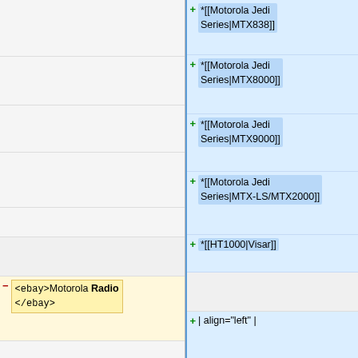[Figure (screenshot): Diff view of a wiki page edit showing two columns: left (old) and right (new). Right column shows additions of Motorola Jedi Series entries (MTX838, MTX8000, MTX9000, MTX-LS/MTX2000), HT1000 Visar, alignment markup, MCS2000, and a pipe character. Left column shows removal of ebay tags wrapping 'Motorola Radio' and a Category:Radio Models line.]